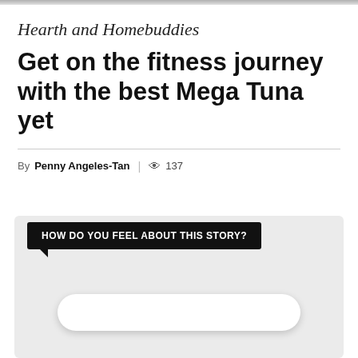Hearth and Homebuddies
Get on the fitness journey with the best Mega Tuna yet
By Penny Angeles-Tan | 👁 137
[Figure (screenshot): A light gray reaction widget box with a black speech bubble label reading 'HOW DO YOU FEEL ABOUT THIS STORY?' and a white pill-shaped button below.]